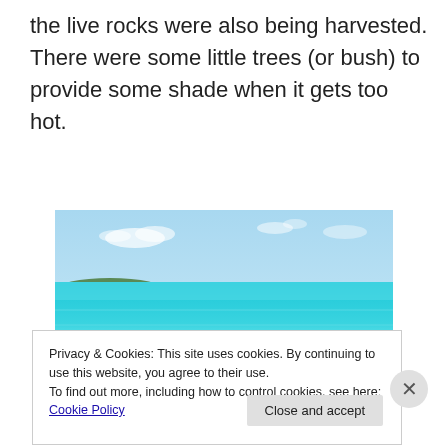the live rocks were also being harvested. There were some little trees (or bush) to provide some shade when it gets too hot.
[Figure (photo): A tropical beach scene with white sand, turquoise water, scattered rocks and low vegetation in the foreground, and a green island visible in the background under a partly cloudy blue sky.]
Privacy & Cookies: This site uses cookies. By continuing to use this website, you agree to their use.
To find out more, including how to control cookies, see here: Cookie Policy
Close and accept